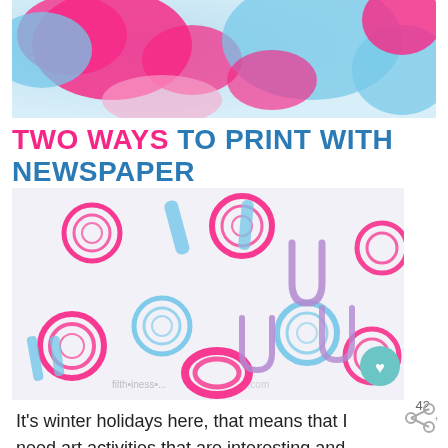[Figure (photo): Close-up abstract image of pink and blue paint splashes and smears on white background]
TWO WAYS TO PRINT WITH NEWSPAPER
[Figure (photo): Art activity photo showing newspaper roll stamp prints in pink, blue and purple on white paper, creating circular and stripe patterns. Watermark text visible at bottom.]
It's winter holidays here, that means that I need art activities that are interesting and